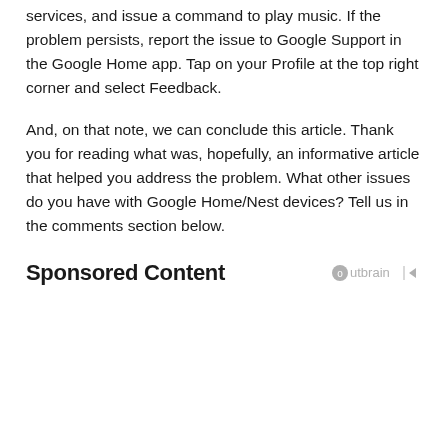services, and issue a command to play music. If the problem persists, report the issue to Google Support in the Google Home app. Tap on your Profile at the top right corner and select Feedback.
And, on that note, we can conclude this article. Thank you for reading what was, hopefully, an informative article that helped you address the problem. What other issues do you have with Google Home/Nest devices? Tell us in the comments section below.
Sponsored Content